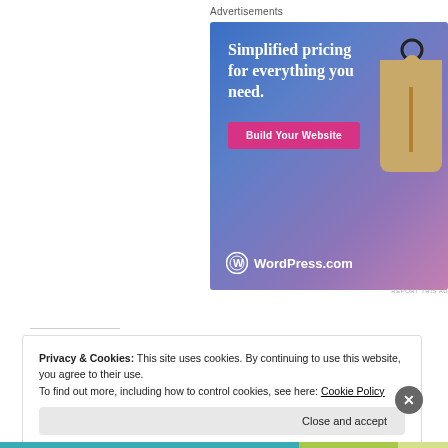Advertisements
[Figure (illustration): WordPress.com advertisement banner with blue-to-purple gradient background, price tag illustration, text 'Simplified pricing for everything you need.', pink 'Build Your Website' button, and WordPress.com logo]
REPORT THIS AD
Privacy & Cookies: This site uses cookies. By continuing to use this website, you agree to their use.
To find out more, including how to control cookies, see here: Cookie Policy
Close and accept